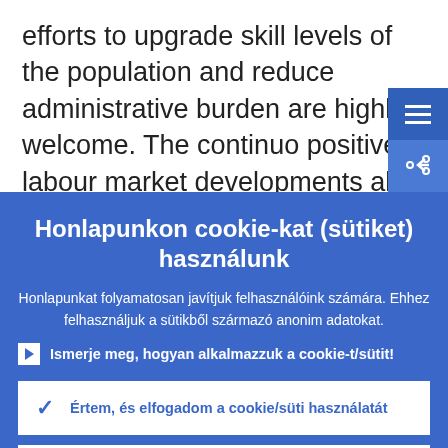efforts to upgrade skill levels of the population and reduce administrative burden are highly welcome. The continuo positive labour market developments also
Honlapunkon cookie-kat (sütiket) használunk
Honlapunkat folyamatosan javítjuk felhasználóink számára. Ehhez felhasználjuk a sütikből származó anonim adatokat.
Ismerje meg, hogyan alkalmazzuk a cookie-t/sütit!
Értem, és elfogadom a cookie/süti használatát
Visszautasítom a cookie/süti használatát